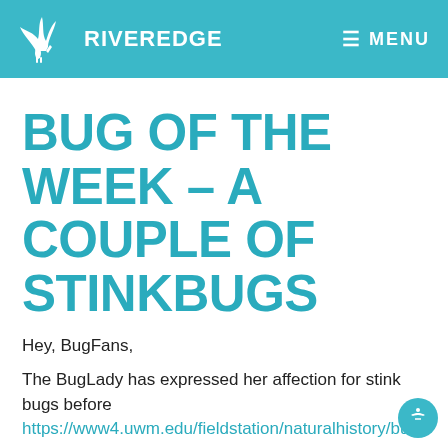RIVEREDGE | MENU
BUG OF THE WEEK – A COUPLE OF STINKBUGS
Hey, BugFans,
The BugLady has expressed her affection for stink bugs before https://www4.uwm.edu/fieldstation/naturalhistory/bu